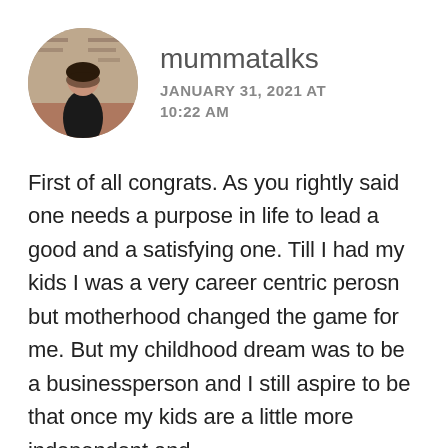[Figure (photo): Circular avatar photo of a person in a dark outfit, in front of a shelf or store background]
mummatalks
JANUARY 31, 2021 AT 10:22 AM
First of all congrats. As you rightly said one needs a purpose in life to lead a good and a satisfying one. Till I had my kids I was a very career centric perosn but motherhood changed the game for me. But my childhood dream was to be a businessperson and I still aspire to be that once my kids are a little more independent and